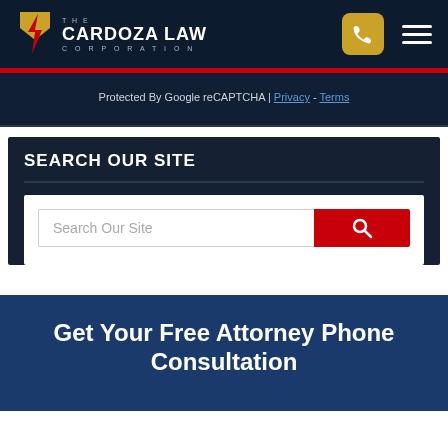[Figure (logo): The Cardoza Law Corporation logo with stylized gold and red shield/lightning bolt icon and white text]
Protected By Google reCAPTCHA | Privacy - Terms
SEARCH OUR SITE
Search Our Site
Get Your Free Attorney Phone Consultation